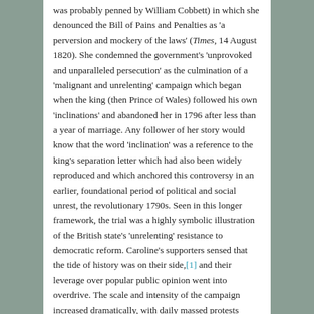was probably penned by William Cobbett) in which she denounced the Bill of Pains and Penalties as 'a perversion and mockery of the laws' (Times, 14 August 1820). She condemned the government's 'unprovoked and unparalleled persecution' as the culmination of a 'malignant and unrelenting' campaign which began when the king (then Prince of Wales) followed his own 'inclinations' and abandoned her in 1796 after less than a year of marriage. Any follower of her story would know that the word 'inclination' was a reference to the king's separation letter which had also been widely reproduced and which anchored this controversy in an earlier, foundational period of political and social unrest, the revolutionary 1790s. Seen in this longer framework, the trial was a highly symbolic illustration of the British state's 'unrelenting' resistance to democratic reform. Caroline's supporters sensed that the tide of history was on their side,[1] and their leverage over popular public opinion went into overdrive. The scale and intensity of the campaign increased dramatically, with daily massed protests outside parliament and constant reporting of the trial in a range of formats including newspapers,